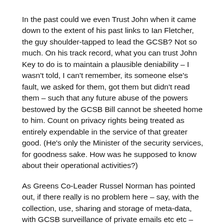In the past could we even Trust John when it came down to the extent of his past links to Ian Fletcher, the guy shoulder-tapped to lead the GCSB? Not so much. On his track record, what you can trust John Key to do is to maintain a plausible deniability – I wasn't told, I can't remember, its someone else's fault, we asked for them, got them but didn't read them – such that any future abuse of the powers bestowed by the GCSB Bill cannot be sheeted home to him. Count on privacy rights being treated as entirely expendable in the service of that greater good. (He's only the Minister of the security services, for goodness sake. How was he supposed to know about their operational activities?)
As Greens Co-Leader Russel Norman has pointed out, if there really is no problem here – say, with the collection, use, sharing and storage of meta-data, with GCSB surveillance of private emails etc etc – then why aren't these protections being written into the Bill? Why is Key – at this late stage – offering himself as a walking talking Supplementary Order Paper to cover over all the cracks in this badly conceived, badly